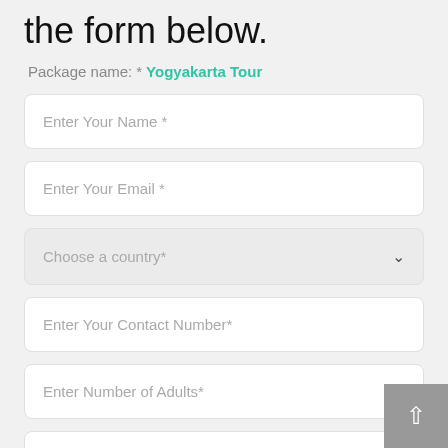the form below.
Package name: * Yogyakarta Tour
Enter Your Name *
Enter Your Email *
Choose a country*
Enter Your Contact Number*
Enter Number of Adults*
Enter Number of Children